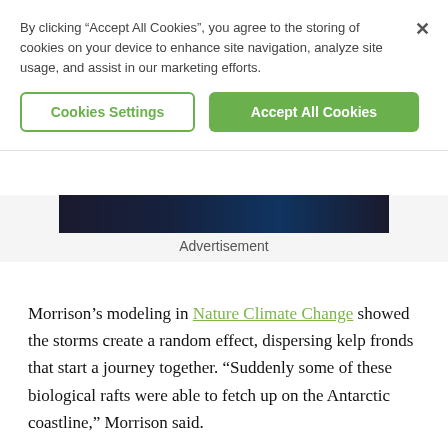By clicking “Accept All Cookies”, you agree to the storing of cookies on your device to enhance site navigation, analyze site usage, and assist in our marketing efforts.
Cookies Settings
Accept All Cookies
[Figure (photo): Dark space/night sky image banner]
Advertisement
Morrison’s modeling in Nature Climate Change showed the storms create a random effect, dispersing kelp fronds that start a journey together. “Suddenly some of these biological rafts were able to fetch up on the Antarctic coastline,” Morrison said.
The work explains not only the presence of kelp in